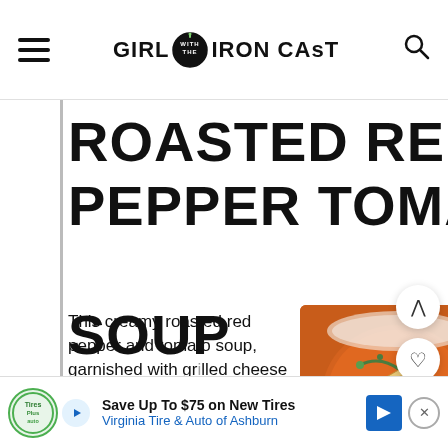GIRL WITH THE IRON CAST
ROASTED RED PEPPER TOMATO SOUP
This creamy roasted red pepper and tomato soup, garnished with grilled cheese croutons and pi...
[Figure (photo): Bowl of roasted red pepper tomato soup garnished with green herbs and grilled cheese crouton strips]
Save Up To $75 on New Tires Virginia Tire & Auto of Ashburn